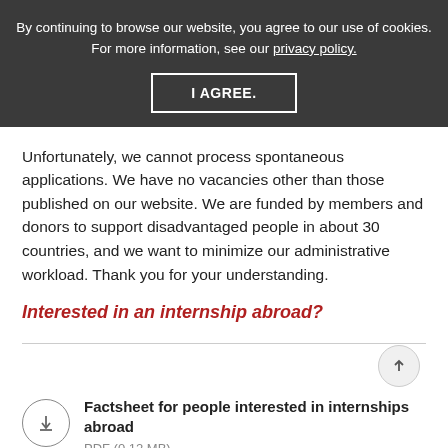By continuing to browse our website, you agree to our use of cookies. For more information, see our privacy policy.
I AGREE.
Unfortunately, we cannot process spontaneous applications. We have no vacancies other than those published on our website. We are funded by members and donors to support disadvantaged people in about 30 countries, and we want to minimize our administrative workload. Thank you for your understanding.
Interested in an internship abroad?
Factsheet for people interested in internships abroad
PDF (0.12 MB)